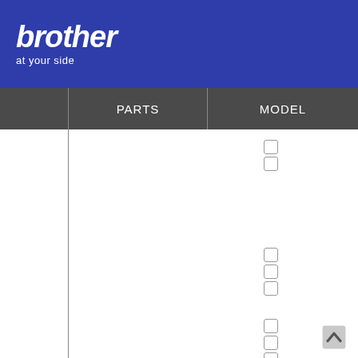[Figure (logo): Brother logo with 'at your side' tagline on blue background]
|  | PARTS | MODEL |
| --- | --- | --- |
|  |  | ☐☐ |
|  |  |  |
|  |  | ☐☐☐ |
|  |  | ☐☐☐ |